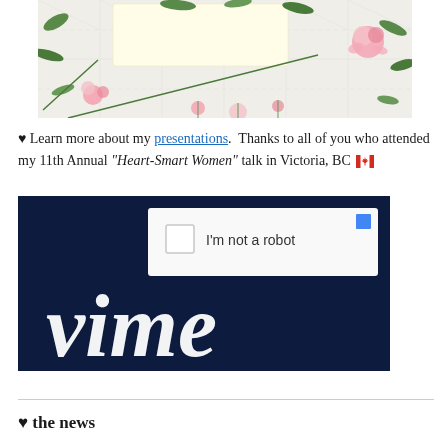[Figure (photo): Floral flat lay photo with pink roses and green leaves on a white tiled surface, with a light yellow rectangular card overlay in the center top area.]
♥ Learn more about my presentations.  Thanks to all of you who attended my 11th Annual "Heart-Smart Women" talk in Victoria, BC 🇨🇦
[Figure (screenshot): Screenshot showing a CAPTCHA 'I'm not a robot' checkbox widget overlaid on a dark navy blue background with white cursive 'vime' text (partial Vimeo logo).]
♥ the news